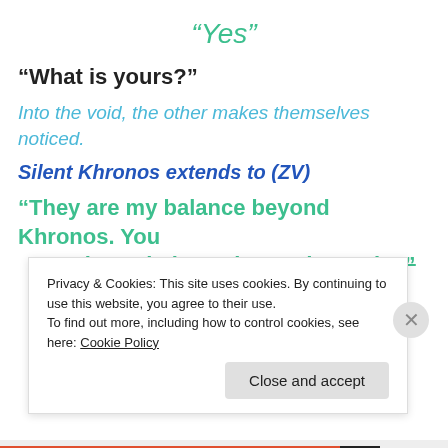“Yes”
“What is yours?”
Into the void, the other makes themselves noticed.
Silent Khronos extends to (ZV)
“They are my balance beyond Khronos. You are Time’s balance beyond Anonke.”
Privacy & Cookies: This site uses cookies. By continuing to use this website, you agree to their use.
To find out more, including how to control cookies, see here: Cookie Policy